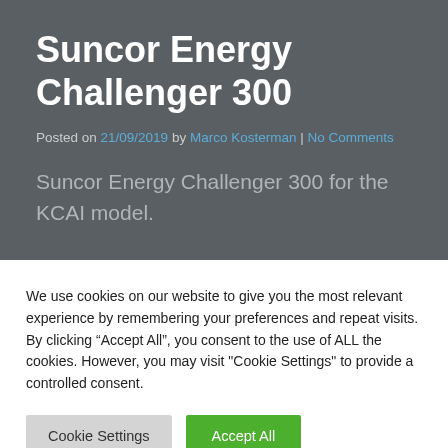Suncor Energy Challenger 300
Posted on 21/09/2019 by Marco Kosterman | No Comments
Suncor Energy Challenger 300 for the KCAI model.
We use cookies on our website to give you the most relevant experience by remembering your preferences and repeat visits. By clicking “Accept All”, you consent to the use of ALL the cookies. However, you may visit "Cookie Settings" to provide a controlled consent.